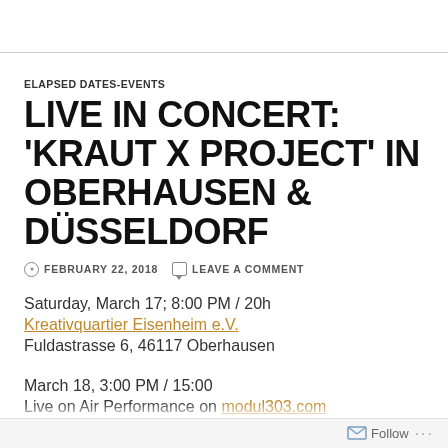ELAPSED DATES-EVENTS
LIVE IN CONCERT: ‘KRAUT X PROJECT’ IN OBERHAUSEN & DÜSSELDORF
FEBRUARY 22, 2018   LEAVE A COMMENT
Saturday, March 17; 8:00 PM / 20h
Kreativquartier Eisenheim e.V.
Fuldastrasse 6, 46117 Oberhausen
March 18, 3:00 PM / 15:00
Live on Air Performance on modul303.com